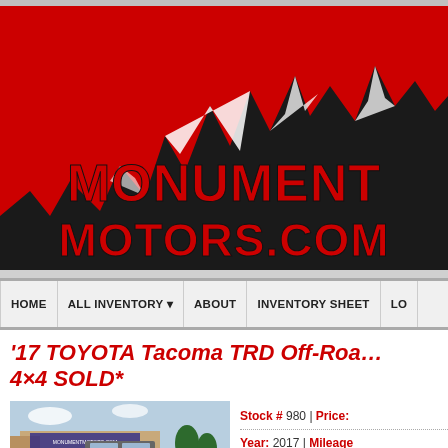[Figure (logo): Monument Motors logo with mountain silhouette on red background with text MonumentMotors.com]
HOME | ALL INVENTORY | ABOUT | INVENTORY SHEET | LO...
'17 TOYOTA Tacoma TRD Off-Road 4×4 SOLD*
[Figure (photo): Photo of a Toyota Tacoma truck at Monument Motors dealership]
Stock # 980 | Price:
Year: 2017 | Mileage:
Color: Dk Gray Meta